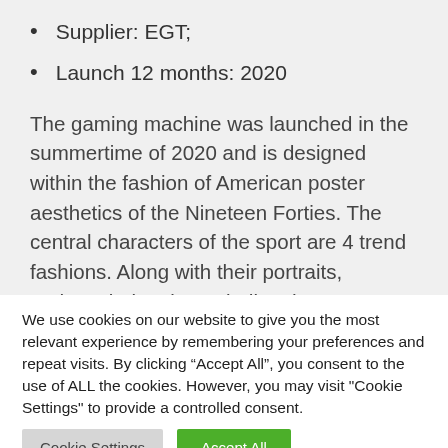Supplier: EGT;
Launch 12 months: 2020
The gaming machine was launched in the summertime of 2020 and is designed within the fashion of American poster aesthetics of the Nineteen Forties. The central characters of the sport are 4 trend fashions. Along with their portraits, gadgets belonging to ladies drop out on 5 reels: epaulets, hair bands, a phone, a bike, and plenty of
We use cookies on our website to give you the most relevant experience by remembering your preferences and repeat visits. By clicking “Accept All”, you consent to the use of ALL the cookies. However, you may visit "Cookie Settings" to provide a controlled consent.